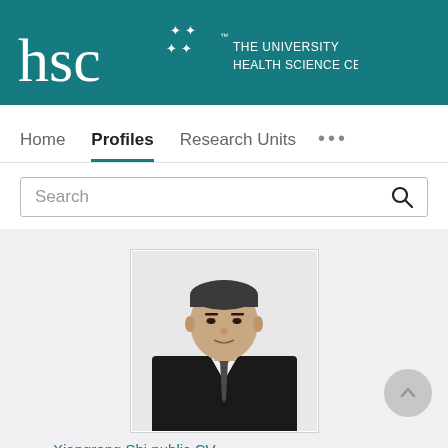[Figure (logo): HSC - The University of North Texas Health Science Center at Fort Worth logo on teal background]
Home  Profiles  Research Units  ...
Search
[Figure (photo): Professional headshot photo of Xiangrong Shi, a man in a dark suit with a tie, against a white background]
Xiangrong Shi public CV